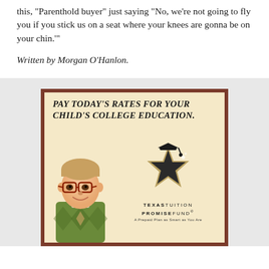this, 'Parenthold buyer' just saying 'No, we're not going to fly you if you stick us on a seat where your knees are gonna be on your chin.'"
Written by Morgan O'Hanlon.
[Figure (photo): Advertisement for Texas Tuition Promise Fund showing a young boy in a green argyle sweater vest with glasses, alongside the text 'Pay Today's Rates for Your Child's College Education.' and the Texas Tuition Promise Fund star logo with tagline 'A Prepaid Plan as Smart as You Are', displayed in a dark wood frame on a light cream background.]